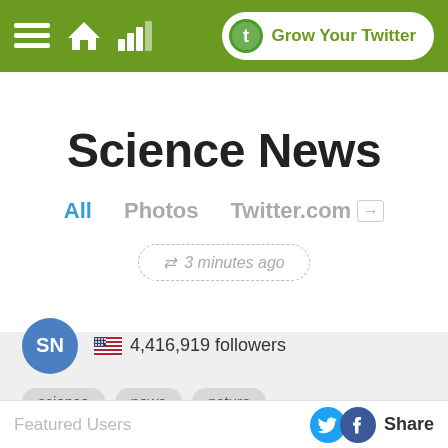☰ 🏠 📶  Grow Your Twitter
Science News
All   Photos   Twitter.com →
⇄ 3 minutes ago
[Figure (infographic): Profile section with SN avatar, US flag, 4,416,919 followers count, and tags: science, news, nature]
Featured Users
Share